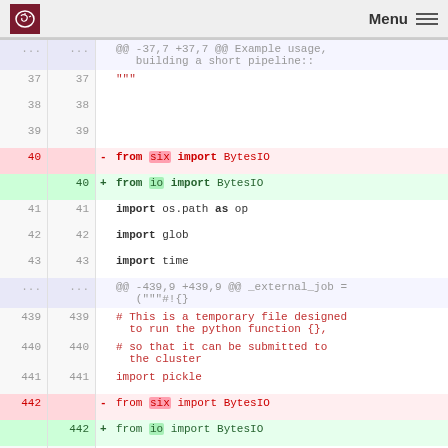Menu
@@ -37,7 +37,7 @@ Example usage, building a short pipeline::
37  37  """
38  38  
39  39  
40  - from six import BytesIO
40  + from io import BytesIO
41  41  import os.path as op
42  42  import glob
43  43  import time
... @@ -439,9 +439,9 @@ _external_job = ("""#!{}
439  439  # This is a temporary file designed to run the python function {},
440  440  # so that it can be submitted to the cluster
441  441  import pickle
442  - from six import BytesIO
442  + from io import BytesIO
443  443  from importlib import import_module